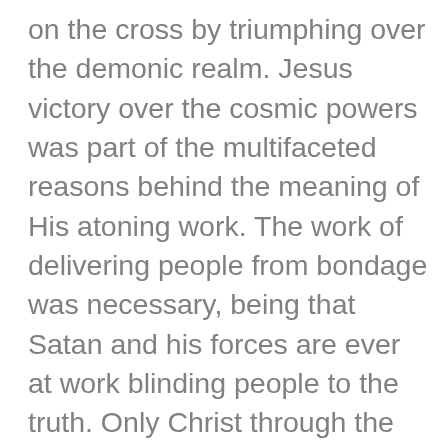on the cross by triumphing over the demonic realm. Jesus victory over the cosmic powers was part of the multifaceted reasons behind the meaning of His atoning work. The work of delivering people from bondage was necessary, being that Satan and his forces are ever at work blinding people to the truth. Only Christ through the power of the Gospel can break people free of physical, chemical, relational and any other sort of bondage that is influenced by the Kingdom of darkness. (Acts 26:18)